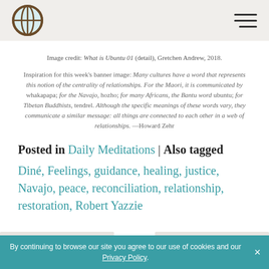Navigation header with globe logo and hamburger menu
Image credit: What is Ubuntu 01 (detail), Gretchen Andrew, 2018.
Inspiration for this week's banner image: Many cultures have a word that represents this notion of the centrality of relationships. For the Maori, it is communicated by whakapapa; for the Navajo, hozho; for many Africans, the Bantu word ubuntu; for Tibetan Buddhists, tendrel. Although the specific meanings of these words vary, they communicate a similar message: all things are connected to each other in a web of relationships. —Howard Zehr
Posted in Daily Meditations | Also tagged Diné, Feelings, guidance, healing, justice, Navajo, peace, reconciliation, relationship, restoration, Robert Yazzie
By continuing to browse our site you agree to our use of cookies and our Privacy Policy. ×